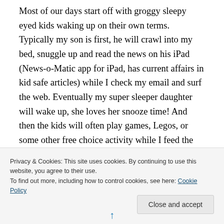Most of our days start off with groggy sleepy eyed kids waking up on their own terms. Typically my son is first, he will crawl into my bed, snuggle up and read the news on his iPad (News-o-Matic app for iPad, has current affairs in kid safe articles) while I check my email and surf the web. Eventually my super sleeper daughter will wake up, she loves her snooze time! And then the kids will often play games, Legos, or some other free choice activity while I feed the chickens, rabbits, water the garden, make breakfast, etc…
[Figure (photo): Partial view of a black and white photograph, mostly cropped by the cookie consent banner overlay]
Privacy & Cookies: This site uses cookies. By continuing to use this website, you agree to their use.
To find out more, including how to control cookies, see here: Cookie Policy